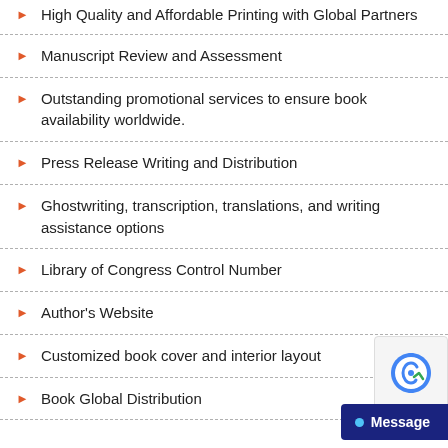High Quality and Affordable Printing with Global Partners
Manuscript Review and Assessment
Outstanding promotional services to ensure book availability worldwide.
Press Release Writing and Distribution
Ghostwriting, transcription, translations, and writing assistance options
Library of Congress Control Number
Author's Website
Customized book cover and interior layout
Book Global Distribution